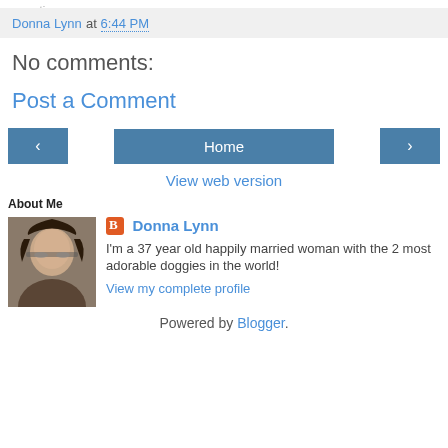Donna Lynn at 6:44 PM
No comments:
Post a Comment
‹  Home  ›
View web version
About Me
[Figure (photo): Profile photo of Donna Lynn, a woman with dark curly hair and glasses]
Donna Lynn
I'm a 37 year old happily married woman with the 2 most adorable doggies in the world!
View my complete profile
Powered by Blogger.